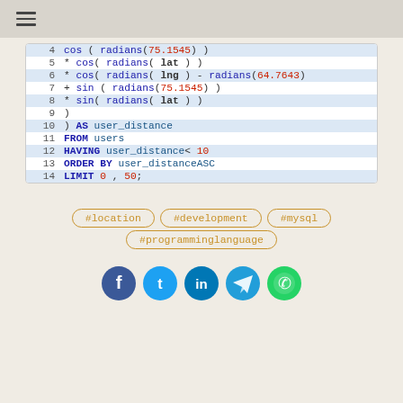≡
SQL code block lines 4-14 showing geographic distance calculation query
#location
#development
#mysql
#programminglanguage
[Figure (other): Social media share icons: Facebook, Twitter, LinkedIn, Telegram, WhatsApp]